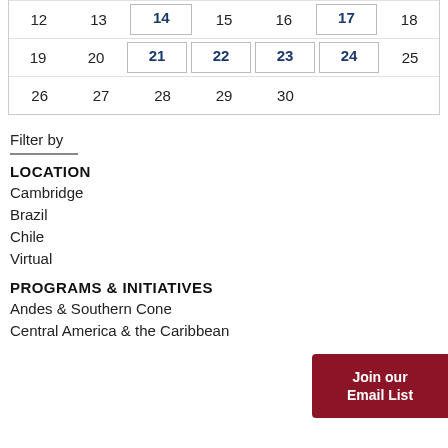| 12 | 13 | 14 | 15 | 16 | 17 | 18 |
| 19 | 20 | 21 | 22 | 23 | 24 | 25 |
| 26 | 27 | 28 | 29 | 30 |  |  |
Filter by
LOCATION
Cambridge
Brazil
Chile
Virtual
PROGRAMS & INITIATIVES
Andes & Southern Cone
Central America & the Caribbean
Join our Email List